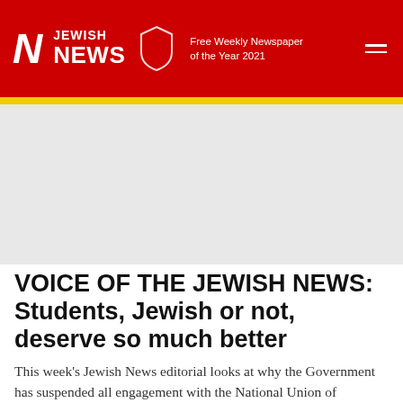Jewish News — Free Weekly Newspaper of the Year 2021
VOICE OF THE JEWISH NEWS: Students, Jewish or not, deserve so much better
This week's Jewish News editorial looks at why the Government has suspended all engagement with the National Union of Students.